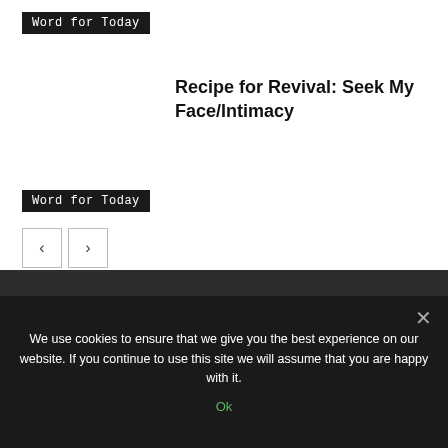Word for Today
Recipe for Revival: Seek My Face/Intimacy
Word for Today
[Figure (logo): Family Radio logo with stylized red cursive 'Family' text and blue figure with radio waves, on dark background]
We use cookies to ensure that we give you the best experience on our website. If you continue to use this site we will assume that you are happy with it.
Ok